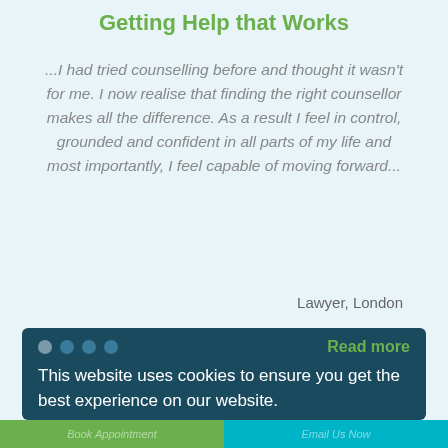Getting Help that Works
...I had tried counselling before and thought it wasn't for me. I now realise that finding the right counsellor makes all the difference. As a result I feel in control, grounded and confident in all parts of my life and most importantly, I feel capable of moving forward...
Lawyer, London
Read more
This website uses cookies to ensure you get the best experience on our website.
Read About Cookies
Got it!
Book Appointment   Email Us Now